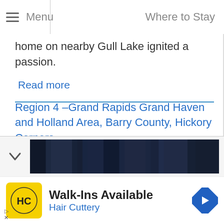Menu | Where to Stay
home on nearby Gull Lake ignited a passion.
Read more
Region 4 –Grand Rapids Grand Haven and Holland Area, Barry County, Hickory Corners
[Figure (photo): Dark blue curtain or fabric image in bottom panel]
[Figure (logo): Hair Cuttery advertisement with HC logo on yellow background, Walk-Ins Available text, navigation arrow icon]